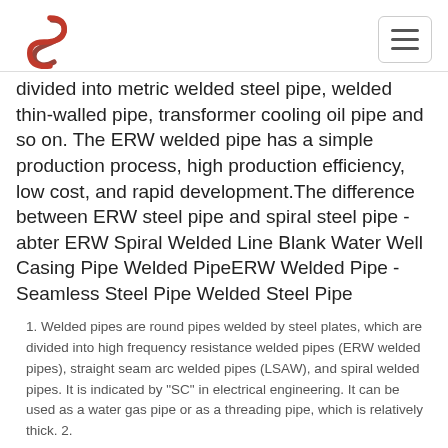Logo and navigation header
divided into metric welded steel pipe, welded thin-walled pipe, transformer cooling oil pipe and so on. The ERW welded pipe has a simple production process, high production efficiency, low cost, and rapid development.The difference between ERW steel pipe and spiral steel pipe - abter ERW Spiral Welded Line Blank Water Well Casing Pipe Welded PipeERW Welded Pipe - Seamless Steel Pipe Welded Steel Pipe
1. Welded pipes are round pipes welded by steel plates, which are divided into high frequency resistance welded pipes (ERW welded pipes), straight seam arc welded pipes (LSAW), and spiral welded pipes. It is indicated by "SC" in electrical engineering. It can be used as a water gas pipe or as a threading pipe, which is relatively thick. 2.
6 mins The difference between ERW steel pipe and spiral steel ERW Spiral Welded Line Blank Water Well Casing Pipe Welded Pipe